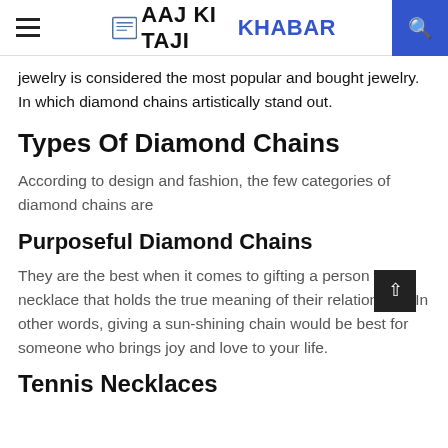AAJ KI TAJI KHABAR
jewelry is considered the most popular and bought jewelry. In which diamond chains artistically stand out.
Types Of Diamond Chains
According to design and fashion, the few categories of diamond chains are
Purposeful Diamond Chains
They are the best when it comes to gifting a person with a necklace that holds the true meaning of their relationship. In other words, giving a sun-shining chain would be best for someone who brings joy and love to your life.
Tennis Necklaces